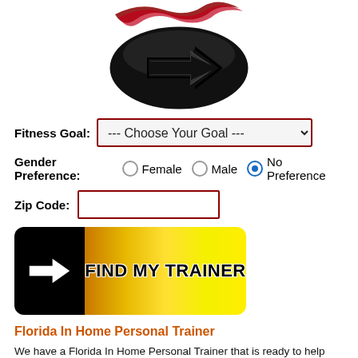[Figure (logo): Logo with arrow in circle and red flame-like swoosh design at top]
Fitness Goal: --- Choose Your Goal ---
Gender Preference: Female  Male  No Preference (No Preference selected)
Zip Code:
[Figure (illustration): Black button with white right-pointing arrow on left and gradient gold/yellow background on right with text FIND MY TRAINER in bold black]
Florida In Home Personal Trainer
We have a Florida In Home Personal Trainer that is ready to help you with your Fitness Goal. Whether it is Weight Loss, Build Muscle, Injury Rehabilitation, Increase Flexibility, Increase Endurance, Improve Overall Health, or Improve Sports Performance they are ready to work with you to achieve your best